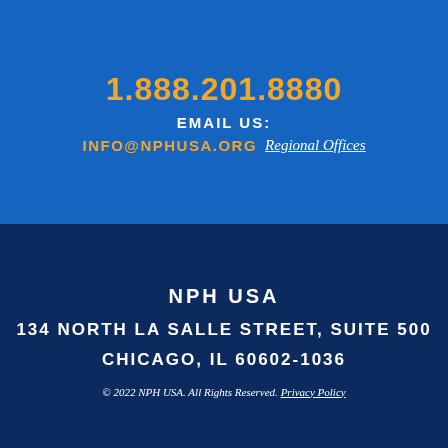1.888.201.8880
EMAIL US:
INFO@NPHUSA.ORG Regional Offices
NPH USA
134 NORTH LA SALLE STREET, SUITE 500
CHICAGO, IL 60602-1036
© 2022 NPH USA. All Rights Reserved. Privacy Policy